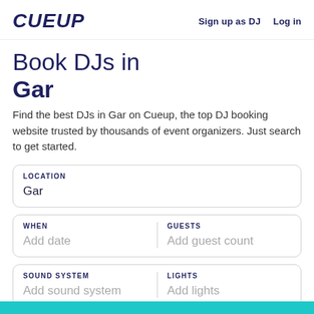CUEUP | Sign up as DJ  Log in
Book DJs in Gar
Find the best DJs in Gar on Cueup, the top DJ booking website trusted by thousands of event organizers. Just search to get started.
LOCATION
Gar
WHEN
Add date
GUESTS
Add guest count
SOUND SYSTEM
Add sound system
LIGHTS
Add lights